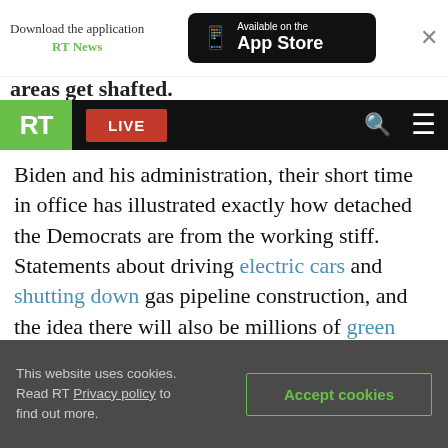Download the application RT News  Available on the App Store  ×
areas get shafted.
RT  LIVE  [search] [menu]
Biden and his administration, their short time in office has illustrated exactly how detached the Democrats are from the working stiff. Statements about driving electric cars and shutting down gas pipeline construction, and the idea there will also be millions of green jobs, all stick a middle finger up to rural Americans. So it's no surprise that people are looking for ever-more creative ideas for 'a way out.'

In my opinion, a lot of this is down to the
This website uses cookies. Read RT Privacy policy to find out more.  Accept cookies